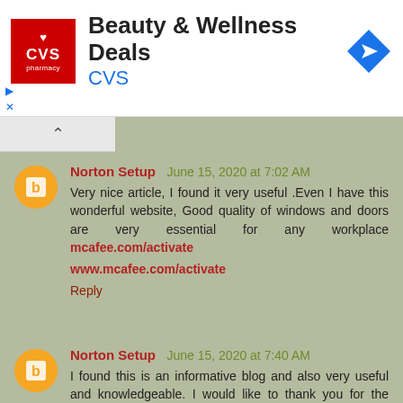[Figure (other): CVS Pharmacy advertisement banner with logo, 'Beauty & Wellness Deals' title, 'CVS' subtitle in blue, and a navigation arrow icon]
Norton Setup  June 15, 2020 at 7:02 AM
Very nice article, I found it very useful .Even I have this wonderful website, Good quality of windows and doors are very essential for any workplace mcafee.com/activate

www.mcafee.com/activate

Reply
Norton Setup  June 15, 2020 at 7:40 AM
I found this is an informative blog and also very useful and knowledgeable. I would like to thank you for the efforts you have made in writing this blog www.avg.com/retail

avg.com/retail